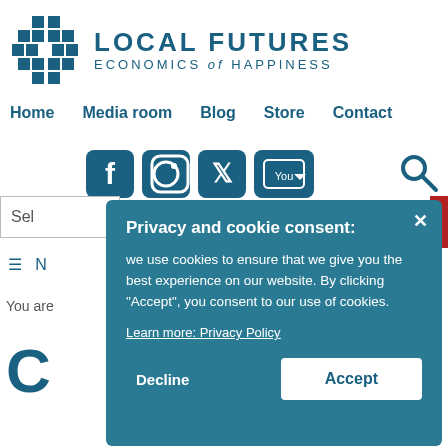[Figure (logo): Local Futures Economics of Happiness logo with blue interlocking squares icon and text]
Home   Media room   Blog   Store   Contact
[Figure (infographic): Social media icons: Facebook, Instagram, Twitter, YouTube, and a search icon]
Se
≡  N
You are
C
Privacy and cookie consent:

we use cookies to ensure that we give you the best experience on our website. By clicking "Accept", you consent to our use of cookies.

Learn more: Privacy Policy
Decline
Accept